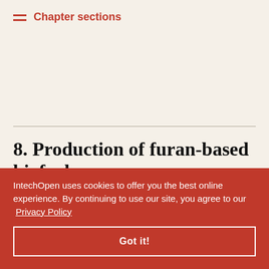Chapter sections
8. Production of furan-based biofuel
Recently, a new second generation biofuel was [partially obscured] of cellulose. [partially obscured]al (HMF) is [partially obscured] HMF is [partially obscured] furan [partially obscured] 31.5 MJ/l, [partially obscured] MJ/l) and 40% greater than that of ethanol (22 MJ/l) [1]. DMF (bp
IntechOpen uses cookies to offer you the best online experience. By continuing to use our site, you agree to our Privacy Policy
Got it!